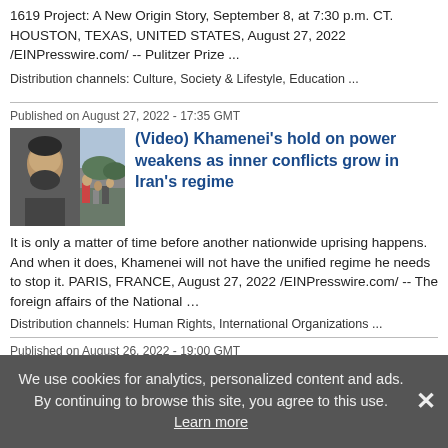1619 Project: A New Origin Story, September 8, at 7:30 p.m. CT. HOUSTON, TEXAS, UNITED STATES, August 27, 2022 /EINPresswire.com/ -- Pulitzer Prize ...
Distribution channels: Culture, Society & Lifestyle, Education ...
Published on August 27, 2022 - 17:35 GMT
[Figure (photo): Two-panel thumbnail: left panel shows a man's face (dark beard, older), right panel shows a crowd/outdoor scene]
(Video) Khamenei's hold on power weakens as inner conflicts grow in Iran's regime
It is only a matter of time before another nationwide uprising happens. And when it does, Khamenei will not have the unified regime he needs to stop it. PARIS, FRANCE, August 27, 2022 /EINPresswire.com/ -- The foreign affairs of the National ...
Distribution channels: Human Rights, International Organizations ...
Published on August 26, 2022 - 19:00 GMT
Credit Summit Releases the Latest
We use cookies for analytics, personalized content and ads. By continuing to browse this site, you agree to this use. Learn more